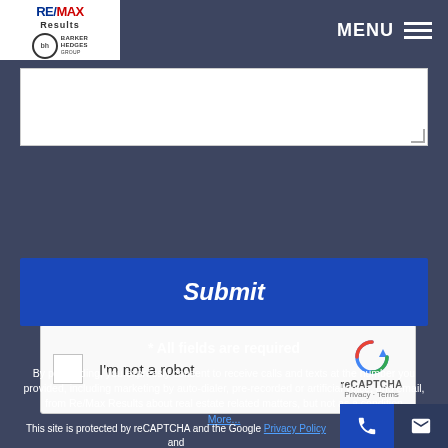RE/MAX Results | Barker Hedges Group | MENU
[Figure (screenshot): Text area input field (partially visible, white background with resize handle)]
[Figure (screenshot): reCAPTCHA widget with checkbox labeled 'I'm not a robot' and reCAPTCHA Privacy · Terms branding]
Submit
* All fields are required
By proceeding, you expressly consent to receive calls and texts at the number you provided, including marketing by auto-dialer, pre-recorded or artificial voice, and email, from Re/Max Results about real estate related matters, but not as a condition More...
This site is protected by reCAPTCHA and the Google Privacy Policy and Terms of Service apply.